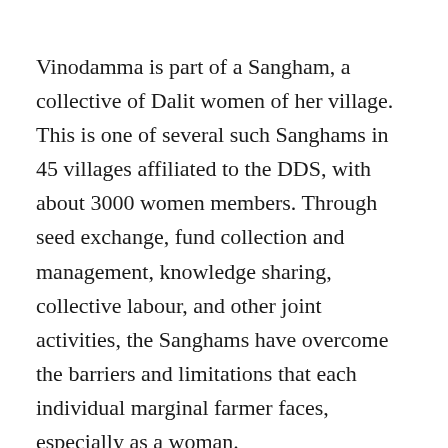Vinodamma is part of a Sangham, a collective of Dalit women of her village. This is one of several such Sanghams in 45 villages affiliated to the DDS, with about 3000 women members. Through seed exchange, fund collection and management, knowledge sharing, collective labour, and other joint activities, the Sanghams have overcome the barriers and limitations that each individual marginal farmer faces, especially as a woman.
As the umbrella organization, DDS has helped in many ways: getting credit and linking women to banks, conducting participatory natural resource documentation and planning exercises.